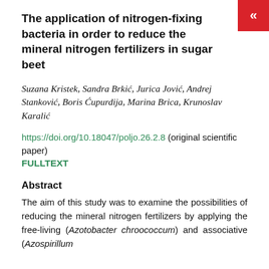The application of nitrogen-fixing bacteria in order to reduce the mineral nitrogen fertilizers in sugar beet
Suzana Kristek, Sandra Brkić, Jurica Jović, Andrej Stanković, Boris Ćupurdija, Marina Brica, Krunoslav Karalić
https://doi.org/10.18047/poljo.26.2.8 (original scientific paper)
FULLTEXT
Abstract
The aim of this study was to examine the possibilities of reducing the mineral nitrogen fertilizers by applying the free-living (Azotobacter chroococcum) and associative (Azospirillum